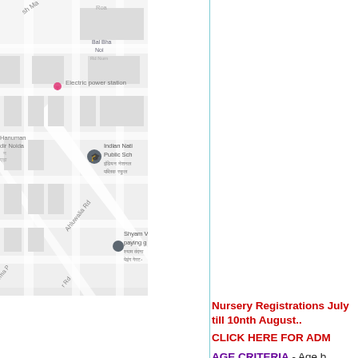[Figure (map): Google Maps screenshot showing streets including Ahluwalia Rd, with landmarks: Electric power station, Hanuman Mandir Noida, Indian National Public School (इंडियन नेशनल पब्लिक स्कूल), Shyam Vandana paying guest, Bal Bhavan Noida. Map pins visible for school and guest house.]
Nursery Registrations July till 10nth August....
CLICK HERE FOR ADM
AGE CRITERIA - Age b